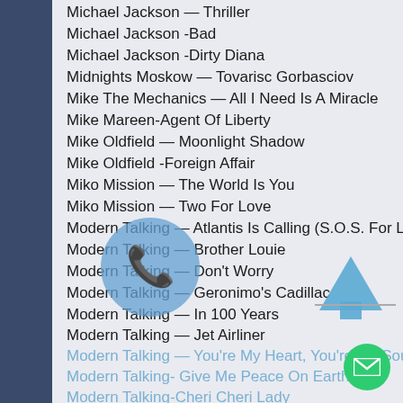Michael Jackson — Thriller
Michael Jackson -Bad
Michael Jackson -Dirty Diana
Midnights Moskow — Tovarisc Gorbasciov
Mike The Mechanics — All I Need Is A Miracle
Mike Mareen-Agent Of Liberty
Mike Oldfield — Moonlight Shadow
Mike Oldfield -Foreign Affair
Miko Mission — The World Is You
Miko Mission — Two For Love
Modern Talking — Atlantis Is Calling (S.O.S. For Love)
Modern Talking — Brother Louie
Modern Talking — Don't Worry
Modern Talking — Geronimo's Cadillac
Modern Talking — In 100 Years
Modern Talking — Jet Airliner
Modern Talking — You're My Heart, You're My Soul
Modern Talking- Give Me Peace On Earth
Modern Talking-Cheri Cheri Lady
Modern Talking-Lucky Guy
Modern Talking-Only Love Can Break My Heart